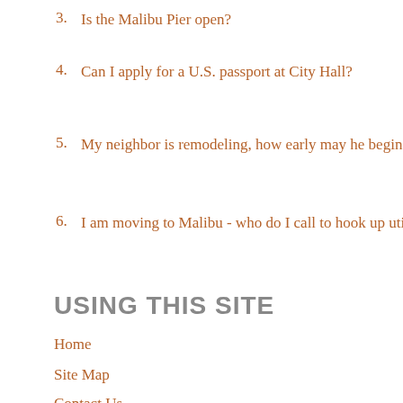3. Is the Malibu Pier open?
4. Can I apply for a U.S. passport at City Hall?
5. My neighbor is remodeling, how early may he begin work?
6. I am moving to Malibu - who do I call to hook up utilities?
USING THIS SITE
Home
Site Map
Contact Us